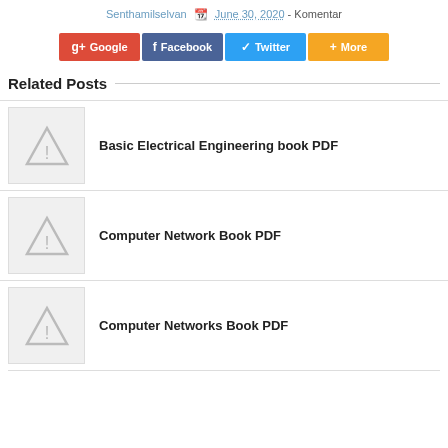Senthamilselvan  June 30, 2020  -  Komentar
[Figure (infographic): Social share buttons: Google+, Facebook, Twitter, More]
Related Posts
[Figure (illustration): Placeholder thumbnail with warning triangle icon for Basic Electrical Engineering book PDF]
Basic Electrical Engineering book PDF
[Figure (illustration): Placeholder thumbnail with warning triangle icon for Computer Network Book PDF]
Computer Network Book PDF
[Figure (illustration): Placeholder thumbnail with warning triangle icon for Computer Networks Book PDF]
Computer Networks Book PDF